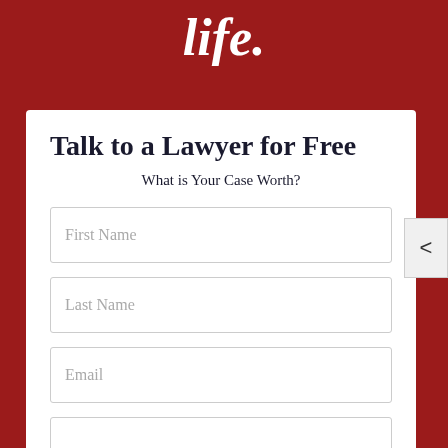life.
Talk to a Lawyer for Free
What is Your Case Worth?
First Name
Last Name
Email